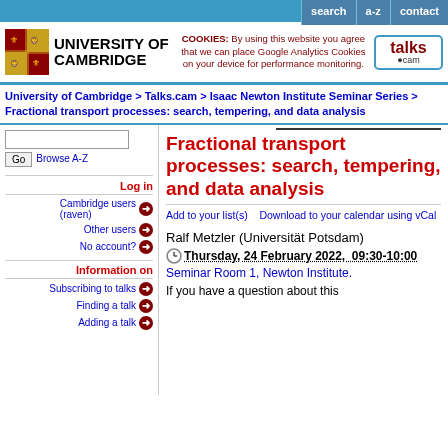search | a-z | contact
[Figure (logo): University of Cambridge coat of arms and name logo, with cookie notice and talks.cam logo]
University of Cambridge > Talks.cam > Isaac Newton Institute Seminar Series > Fractional transport processes: search, tempering, and data analysis
Fractional transport processes: search, tempering, and data analysis
Add to your list(s)    Download to your calendar using vCal
Ralf Metzler (Universität Potsdam)
Thursday, 24 February 2022, 09:30-10:00
Seminar Room 1, Newton Institute.
If you have a question about this
Log in
Cambridge users (raven)
Other users
No account?
Information on
Subscribing to talks
Finding a talk
Adding a talk